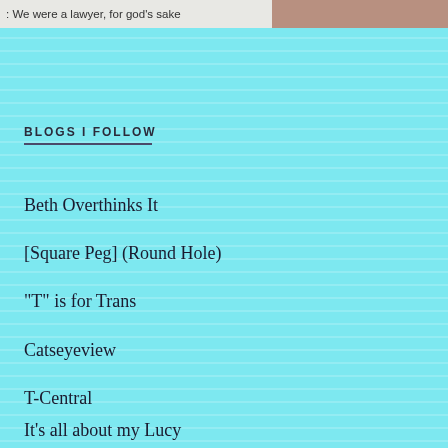[Figure (screenshot): Top strip showing partial text '... We were a lawyer, for god's sake' on the left and a partial photo of a person's face on the right]
BLOGS I FOLLOW
Beth Overthinks It
[Square Peg] (Round Hole)
"T" is for Trans
Catseyeview
T-Central
It's all about my Lucy